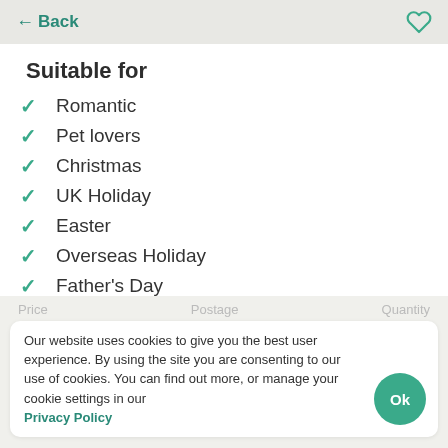← Back
Suitable for
Romantic
Pet lovers
Christmas
UK Holiday
Easter
Overseas Holiday
Father's Day
Fairs, festivals & exhibitions
Mother's Day
Our website uses cookies to give you the best user experience. By using the site you are consenting to our use of cookies. You can find out more, or manage your cookie settings in our Privacy Policy